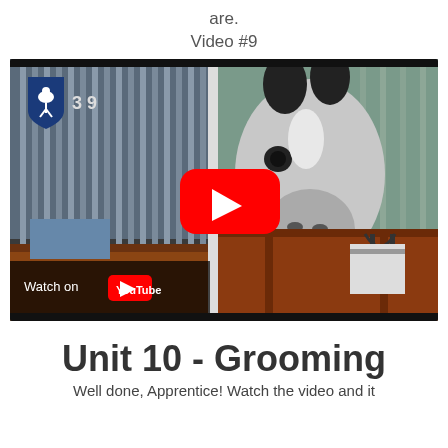are.
Video #9
[Figure (screenshot): YouTube video thumbnail showing a white horse looking out from a stable stall, with stall bars on the left and wooden stall doors on the right. A blue shield logo with a horse and rider is in the top-left corner with '3 9' next to it. A red YouTube play button is in the center. A 'Watch on YouTube' bar appears at the bottom left.]
Unit 10 - Grooming
Well done, Apprentice! Watch the video and it